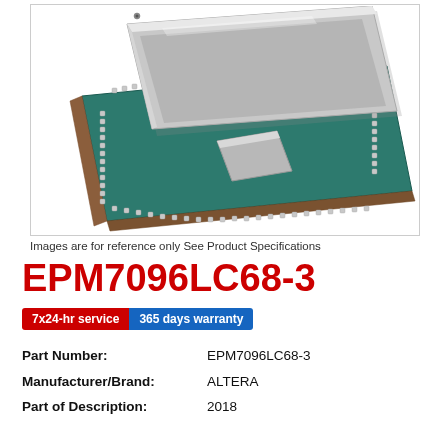[Figure (photo): Close-up photo of an integrated circuit chip (FPGA/CPLD) showing a green PCB substrate with solder balls/pads and a silver heat spreader lid on top, slightly offset to reveal the chip underneath. White background with light border box.]
Images are for reference only See Product Specifications
EPM7096LC68-3
7x24-hr service  365 days warranty
| Property | Value |
| --- | --- |
| Part Number: | EPM7096LC68-3 |
| Manufacturer/Brand: | ALTERA |
| Part of Description: | 2018 |